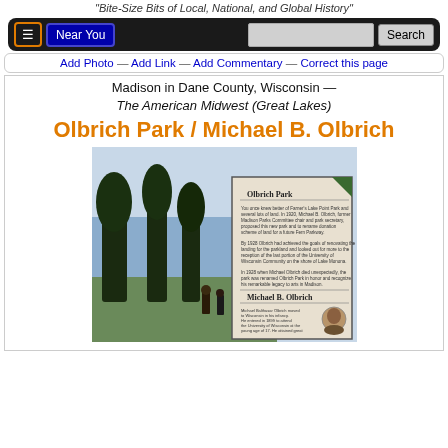"Bite-Size Bits of Local, National, and Global History"
[Figure (screenshot): Navigation bar with menu button, Near You button, search field and Search button on dark background]
Add Photo — Add Link — Add Commentary — Correct this page
Madison in Dane County, Wisconsin — The American Midwest (Great Lakes)
Olbrich Park / Michael B. Olbrich
[Figure (photo): Photograph of an outdoor historical marker sign for Olbrich Park and Michael B. Olbrich, with trees and water visible in background]